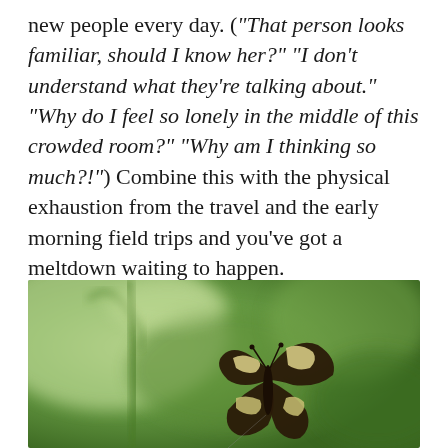new people every day. ("That person looks familiar, should I know her?" "I don't understand what they're talking about." "Why do I feel so lonely in the middle of this crowded room?" "Why am I thinking so much?!") Combine this with the physical exhaustion from the travel and the early morning field trips and you've got a meltdown waiting to happen.
[Figure (photo): Close-up photograph of a zebra longwing butterfly with dark brown and cream/yellow striped wings, resting on a plant stem against a blurred green background.]